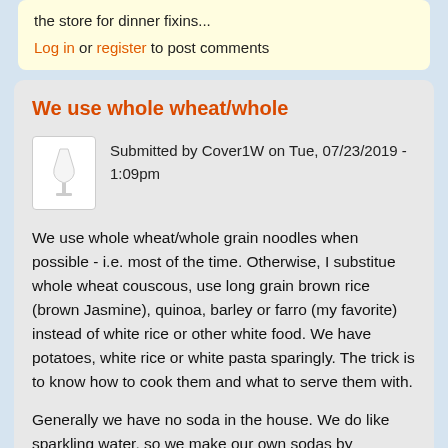the store for dinner fixins...
Log in or register to post comments
We use whole wheat/whole
Submitted by Cover1W on Tue, 07/23/2019 - 1:09pm
We use whole wheat/whole grain noodles when possible - i.e. most of the time.  Otherwise, I substitue whole wheat couscous, use long grain brown rice (brown Jasmine), quinoa, barley or farro (my favorite) instead of white rice or other white food.  We have potatoes, white rice or white pasta sparingly.  The trick is to know how to cook them and what to serve them with.
Generally we have no soda in the house.  We do like sparkling water, so we make our own sodas by combining soda or sparkling water with our juice of